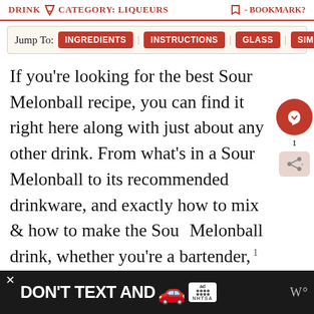DRINK [icon] CATEGORY: LIQUEURS   [bookmark icon] - BOOKMARK?
Jump To: INGREDIENTS | INSTRUCTIONS | GLASS | SIMILAR
If you're looking for the best Sour Melonball recipe, you can find it right here along with just about any other drink. From what's in a Sour Melonball to its recommended drinkware, and exactly how to mix & how to make the Sour Melonball drink, whether you're a bartender, 1 mixologist, or just having DIY fun at your hom CrystalMixer has just about every drink and variation you need. This recipe version is made with these ingredients: Absolut® vodka, Midori®
[Figure (screenshot): Advertisement banner: DON'T TEXT AND [car emoji] with NHTSA branding]